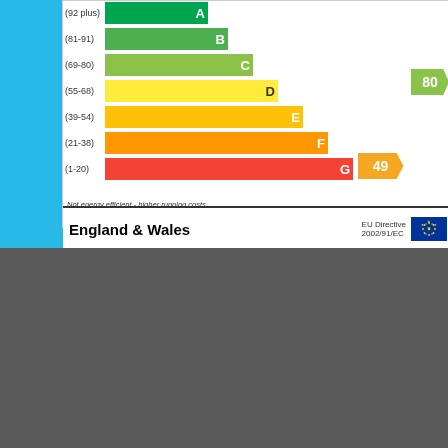[Figure (infographic): EPC (Energy Performance Certificate) chart for England & Wales showing energy efficiency ratings A through G. Current rating: E (49), Potential rating: C (80). Bands: A (92 plus) green, B (81-91) green, C (69-80) yellow-green, D (55-68) yellow, E (39-54) amber, F (21-38) orange, G (1-20) red. Footer shows England & Wales and EU Directive 2002/91/EC with EU flag.]
Floor Plans
[Figure (engineering-diagram): Ground Floor plan showing Kitchen/Breakfast Room, Dining Room, Sitting Room, and Entrance Hall with dimensions. Approx. 76.2 sq. metres (820.5 sq. feet).]